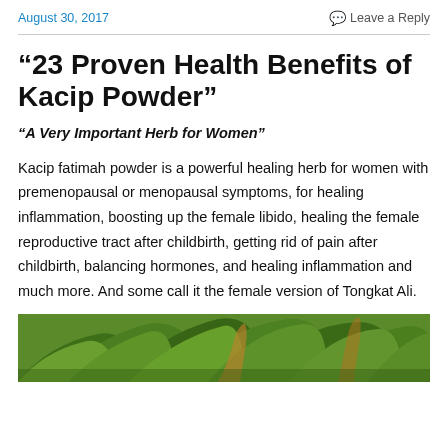August 30, 2017   Leave a Reply
“23 Proven Health Benefits of Kacip Powder”
“A Very Important Herb for Women”
Kacip fatimah powder is a powerful healing herb for women with premenopausal or menopausal symptoms, for healing inflammation, boosting up the female libido, healing the female reproductive tract after childbirth, getting rid of pain after childbirth, balancing hormones, and healing inflammation and much more. And some call it the female version of Tongkat Ali.
[Figure (photo): Close-up photo of green tropical plant leaves]